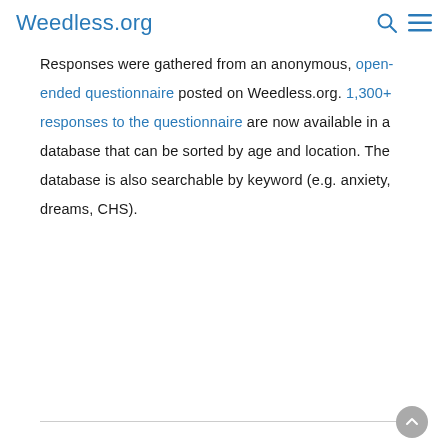Weedless.org
Responses were gathered from an anonymous, open-ended questionnaire posted on Weedless.org. 1,300+ responses to the questionnaire are now available in a database that can be sorted by age and location. The database is also searchable by keyword (e.g. anxiety, dreams, CHS).